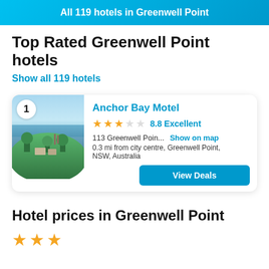All 119 hotels in Greenwell Point
Top Rated Greenwell Point hotels
Show all 119 hotels
[Figure (photo): Aerial photo of Anchor Bay Motel and surrounding waterfront area, Greenwell Point NSW Australia]
Anchor Bay Motel
★★★☆☆ 8.8 Excellent
113 Greenwell Poin... Show on map
0.3 mi from city centre, Greenwell Point, NSW, Australia
[View Deals]
Hotel prices in Greenwell Point
[Figure (other): Three gold star rating icons]